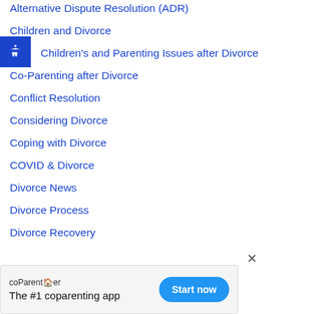Alternative Dispute Resolution (ADR)
Children and Divorce
Children's and Parenting Issues after Divorce
Co-Parenting after Divorce
Conflict Resolution
Considering Divorce
Coping with Divorce
COVID & Divorce
Divorce News
Divorce Process
Divorce Recovery
coParentfer - The #1 coparenting app - Start now